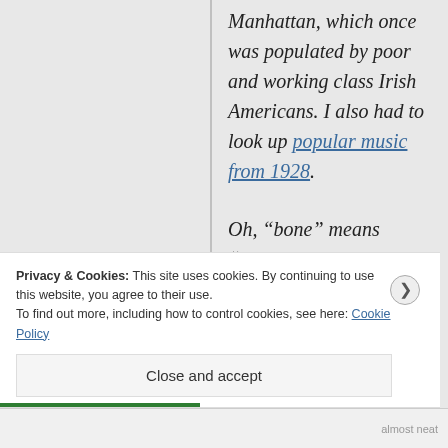Manhattan, which once was populated by poor and working class Irish Americans. I also had to look up popular music from 1928.
Oh, “bone” means “trombone,” not something else. That was Glenn Miller’s musical instrument.
Privacy & Cookies: This site uses cookies. By continuing to use this website, you agree to their use.
To find out more, including how to control cookies, see here: Cookie Policy
Close and accept